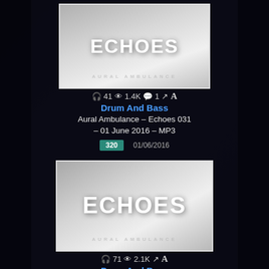[Figure (screenshot): Thumbnail image for Aural Ambulance Echoes 031 - grayscale photo with ECHOES text overlay in white bold font]
41  1.4K  1  A
Drum And Bass
Aural Ambulance - Echoes 031 - 01 June 2016 - MP3
320   01/06/2016
[Figure (screenshot): Thumbnail image for Aural Ambulance Echoes 030 - grayscale photo with ECHOES text overlay in white bold font, larger text]
71  2.1K  A
Drum And Bass
Aural Ambulance - Echoes 030 - 04 May 2016 - MP3